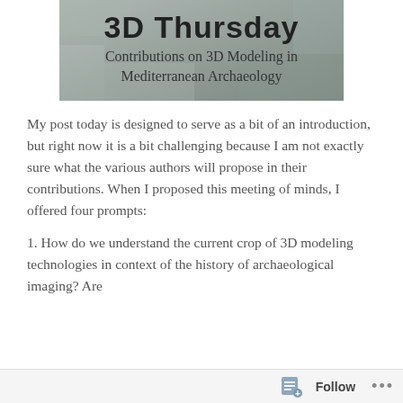[Figure (illustration): Banner image for '3D Thursday: Contributions on 3D Modeling in Mediterranean Archaeology' — text overlaid on a rocky/stone archaeological background image]
My post today is designed to serve as a bit of an introduction, but right now it is a bit challenging because I am not exactly sure what the various authors will propose in their contributions. When I proposed this meeting of minds, I offered four prompts:
1. How do we understand the current crop of 3D modeling technologies in context of the history of archaeological imaging? Are
Follow ...